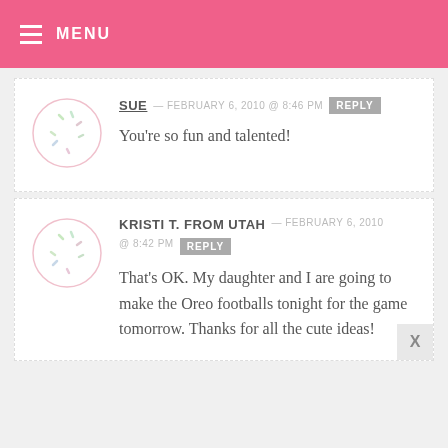MENU
SUE — FEBRUARY 6, 2010 @ 8:46 PM REPLY
You're so fun and talented!
KRISTI T. FROM UTAH — FEBRUARY 6, 2010 @ 8:42 PM REPLY
That's OK. My daughter and I are going to make the Oreo footballs tonight for the game tomorrow. Thanks for all the cute ideas!